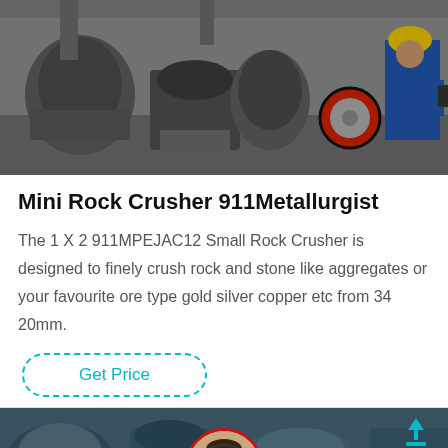[Figure (photo): Industrial machinery workshop with large equipment and a worker in yellow hard hat and blue uniform inspecting equipment]
Mini Rock Crusher 911Metallurgist
The 1 X 2 911MPEJAC12 Small Rock Crusher is designed to finely crush rock and stone like aggregates or your favourite ore type gold silver copper etc from 34 20mm.
Get Price
[Figure (photo): Industrial equipment in background with customer service representative avatar (woman with headset) overlaid, and Leave Message / Chat Online bar at bottom]